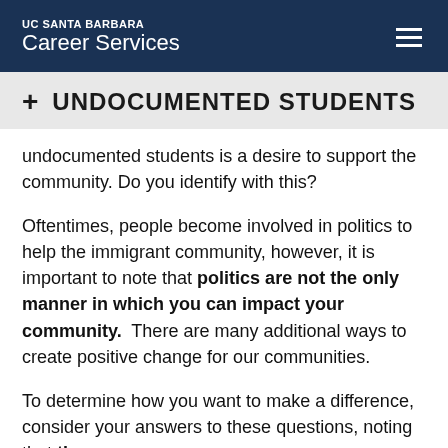UC SANTA BARBARA Career Services
+ UNDOCUMENTED STUDENTS
undocumented students is a desire to support the community. Do you identify with this?
Oftentimes, people become involved in politics to help the immigrant community, however, it is important to note that politics are not the only manner in which you can impact your community. There are many additional ways to create positive change for our communities.
To determine how you want to make a difference, consider your answers to these questions, noting that there are no wrong